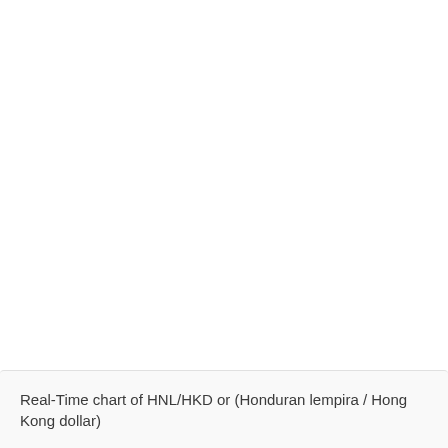Real-Time chart of HNL/HKD or (Honduran lempira / Hong Kong dollar)